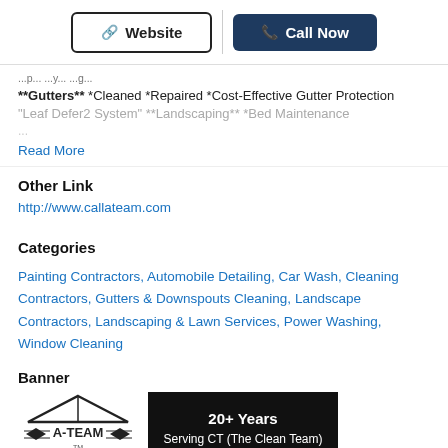Website | Call Now
**Gutters** *Cleaned *Repaired *Cost-Effective Gutter Protection "Leaf Defer2 System" **Landscaping** *Bed Maintenance
Read More
Other Link
http://www.callateam.com
Categories
Painting Contractors, Automobile Detailing, Car Wash, Cleaning Contractors, Gutters & Downspouts Cleaning, Landscape Contractors, Landscaping & Lawn Services, Power Washing, Window Cleaning
Banner
[Figure (logo): A-TEAM logo with roof graphic]
[Figure (infographic): Black banner: 20+ Years Serving CT (The Clean Team)]